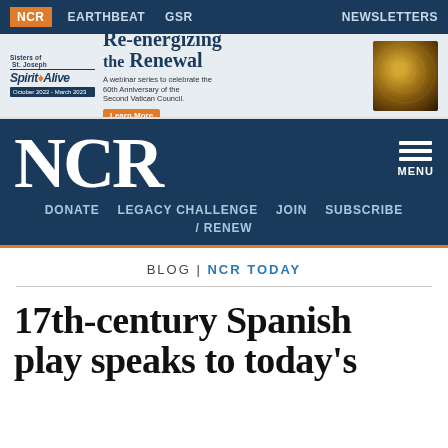NCR  EARTHBEAT  GSR  NEWSLETTERS
[Figure (illustration): Advertisement banner for Sisters of St. Joseph Spirit Alive webinar series 'Re-energizing the Renewal' - A webinar series to celebrate the 60th Anniversary of the Second Vatican Council. October 2022 - March 2023. Learn More button.]
NCR
DONATE  LEGACY CHALLENGE  JOIN  SUBSCRIBE / RENEW
BLOG | NCR TODAY
17th-century Spanish play speaks to today's